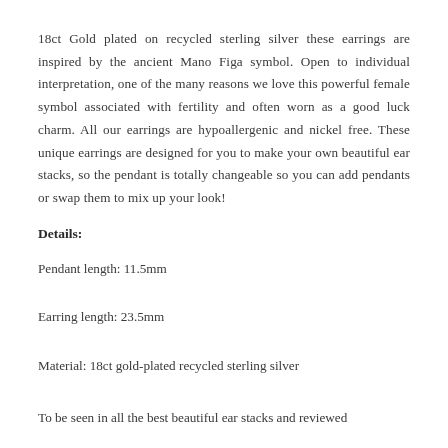18ct Gold plated on recycled sterling silver these earrings are inspired by the ancient Mano Figa symbol. Open to individual interpretation, one of the many reasons we love this powerful female symbol associated with fertility and often worn as a good luck charm. All our earrings are hypoallergenic and nickel free. These unique earrings are designed for you to make your own beautiful ear stacks, so the pendant is totally changeable so you can add pendants or swap them to mix up your look!
Details:
Pendant length: 11.5mm
Earring length: 23.5mm
Material: 18ct gold-plated recycled sterling silver
To be seen in all the best beautiful ear stacks and reviewed...